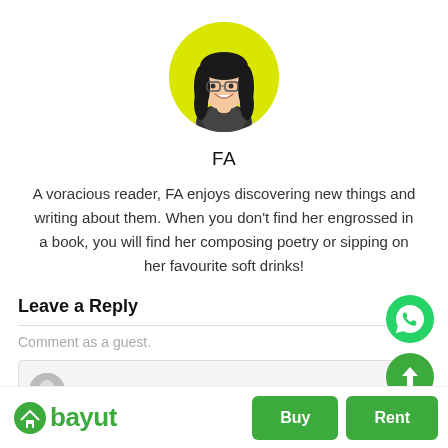[Figure (illustration): Cartoon avatar of a woman with long dark hair, glasses, and a patterned top, set inside a bright yellow-green circle]
FA
A voracious reader, FA enjoys discovering new things and writing about them. When you don't find her engrossed in a book, you will find her composing poetry or sipping on her favourite soft drinks!
Leave a Reply
Comment as a guest.
Write your comment
[Figure (logo): Bayut logo with house icon and green text reading 'bayut', with Buy and Rent buttons]